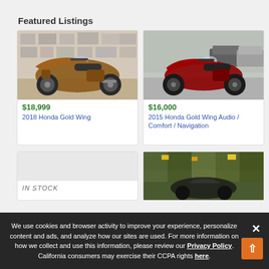Featured Listings
[Figure (photo): Bronze/gold colored 2018 Honda Gold Wing motorcycle displayed indoors with photo-covered wall backdrop]
$18,999
2018 Honda Gold Wing
[Figure (photo): Red 2015 Honda Gold Wing Audio/Comfort/Navigation motorcycle parked in a garage/driveway area with cars in background]
$16,000
2015 Honda Gold Wing Audio / Comfort / Navigation
[Figure (photo): Partially visible motorcycle listing card - bottom left]
IN STOCK
[Figure (photo): Motorcycle in colorful outdoor/crowd setting - bottom right listing]
We use cookies and browser activity to improve your experience, personalize content and ads, and analyze how our sites are used. For more information on how we collect and use this information, please review our Privacy Policy. California consumers may exercise their CCPA rights here.